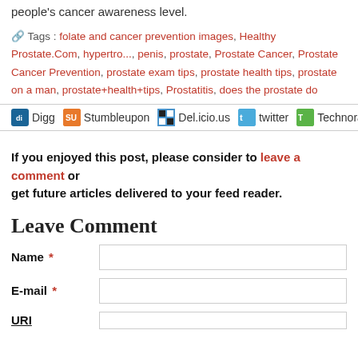people's cancer awareness level.
Tags : folate and cancer prevention images, Healthy Prostate.Com, hypertro..., penis, prostate, Prostate Cancer, Prostate Cancer Prevention, prostate exam tips, prostate health tips, prostate on a man, prostate+health+tips, Prostatitis, does the prostate do
[Figure (infographic): Social sharing bar with icons for Digg, Stumbleupon, Del.icio.us, twitter, Technorati]
If you enjoyed this post, please consider to leave a comment or get future articles delivered to your feed reader.
Leave Comment
Name * [input field]
E-mail * [input field]
URI [input field]